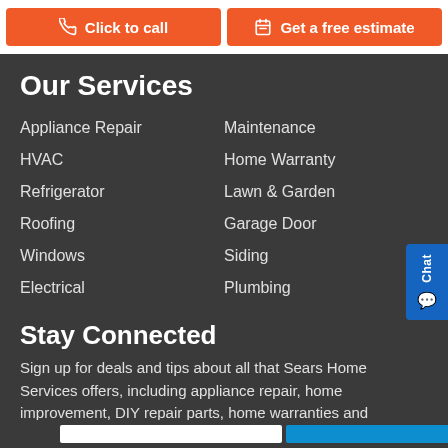Click to call | Get a free estimate
Our Services
Appliance Repair
Maintenance
HVAC
Home Warranty
Refrigerator
Lawn & Garden
Roofing
Garage Door
Windows
Siding
Electrical
Plumbing
Stay Connected
Sign up for deals and tips about all that Sears Home Services offers, including appliance repair, home improvement, DIY repair parts, home warranties and more.